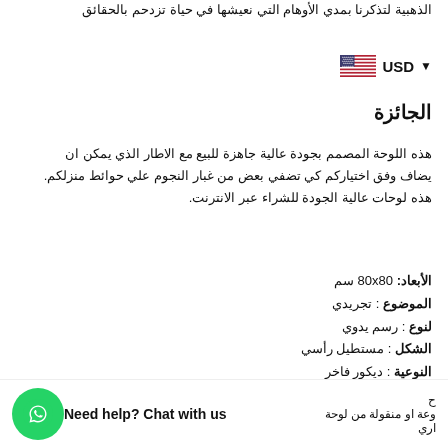الذهبية لتذكرنا بمدي الأوهام التي نعيشها في حياة تزدحم بالحقائق
[Figure (other): US flag icon with USD currency selector dropdown]
الجائزة
هذه اللوحة المصمم بجودة عالية جاهزة للبيع مع الاطار الذي يمكن ان يضاف وفق اختياركم كي تضفي بعض من غبار النجوم علي حوائط منزلكم. هذه لوحات عالية الجودة للشراء عبر الانترنت.
الأبعاد: 80x80 سم
الموضوع : تجريدي
لنوع : رسم يدوي
الشكل : مستطيل رأسي
النوعية : ديكور فاخر
لمواد المستخدمة : القماش والخشب
لوسيلة : ألوان الزيت علي القماش
Need help? Chat with us
وعة او منقولة من لوحة